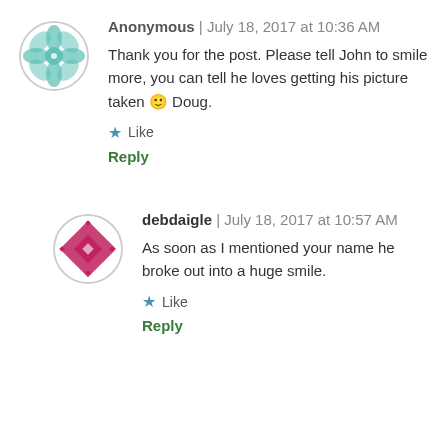[Figure (illustration): Circular avatar with teal/green geometric flower pattern on white background]
Anonymous | July 18, 2017 at 10:36 AM
Thank you for the post. Please tell John to smile more, you can tell he loves getting his picture taken 🙂 Doug.
★ Like
Reply
[Figure (illustration): Circular avatar with pink/magenta geometric diamond pattern on white background]
debdaigle | July 18, 2017 at 10:57 AM
As soon as I mentioned your name he broke out into a huge smile.
★ Like
Reply